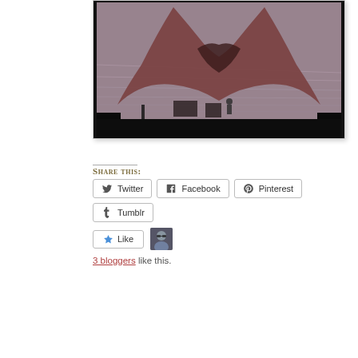[Figure (photo): A concert stage photo showing a large projection screen displaying a whale tail or fin shape over water with pinkish-purple hues. Musicians and equipment are visible on the dark stage below the screen.]
Share this:
Twitter  Facebook  Pinterest  Tumblr
Like
3 bloggers like this.